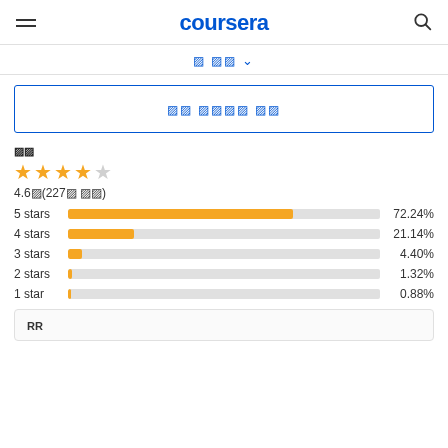coursera
■ ■■ ∨
■■ ■■■■ ■■
■■
[Figure (bar-chart): Star ratings]
RR